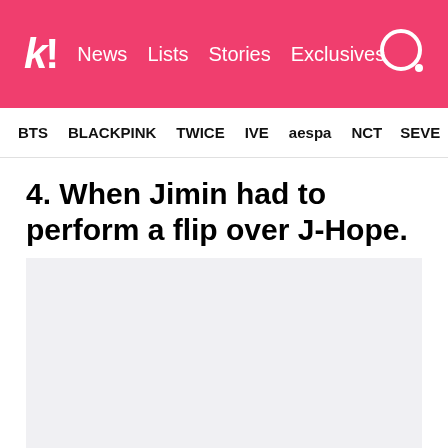k! News Lists Stories Exclusives
BTS BLACKPINK TWICE IVE aespa NCT SEVE
4. When Jimin had to perform a flip over J-Hope.
[Figure (photo): Light gray placeholder image area where a video or photo would appear]
The choreography for “We Are Bulletproof Pt 2”